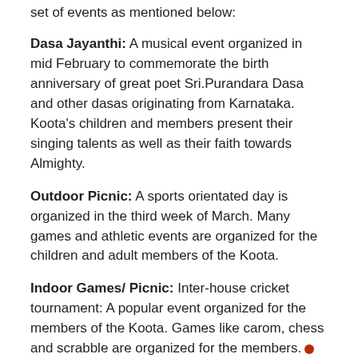set of events as mentioned below:
Dasa Jayanthi: A musical event organized in mid February to commemorate the birth anniversary of great poet Sri.Purandara Dasa and other dasas originating from Karnataka. Koota’s children and members present their singing talents as well as their faith towards Almighty.
Outdoor Picnic: A sports orientated day is organized in the third week of March. Many games and athletic events are organized for the children and adult members of the Koota.
Indoor Games/ Picnic: Inter-house cricket tournament: A popular event organized for the members of the Koota. Games like carom, chess and scrabble are organized for the members.
Rajyotsava Day: Our main event is held in November,